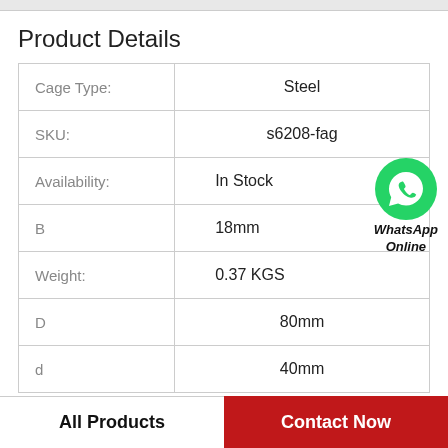Product Details
| Property | Value |
| --- | --- |
| Cage Type: | Steel |
| SKU: | s6208-fag |
| Availability: | In Stock |
| B | 18mm |
| Weight: | 0.37 KGS |
| D | 80mm |
| d | 40mm |
[Figure (logo): WhatsApp Online badge with green WhatsApp icon circle and bold italic text 'WhatsApp Online']
All Products    Contact Now